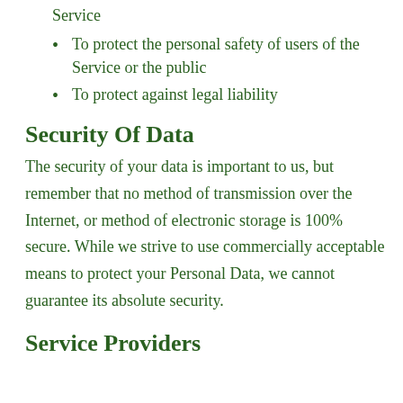Service
To protect the personal safety of users of the Service or the public
To protect against legal liability
Security Of Data
The security of your data is important to us, but remember that no method of transmission over the Internet, or method of electronic storage is 100% secure. While we strive to use commercially acceptable means to protect your Personal Data, we cannot guarantee its absolute security.
Service Providers